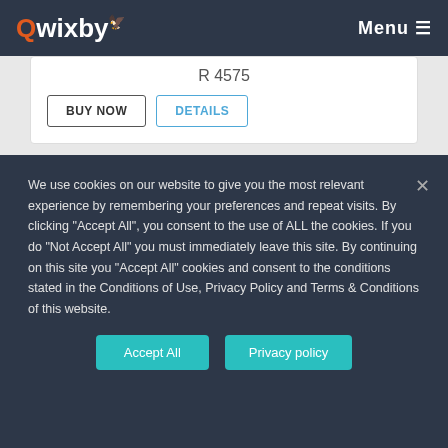Qwixby — Menu
R 4575
BUY NOW   DETAILS
[Figure (photo): Partial product image showing a green and black device]
We use cookies on our website to give you the most relevant experience by remembering your preferences and repeat visits. By clicking “Accept All”, you consent to the use of ALL the cookies. If you do “Not Accept All” you must immediately leave this site. By continuing on this site you “Accept All” cookies and consent to the conditions stated in the Conditions of Use, Privacy Policy and Terms & Conditions of this website.
Accept All   Privacy policy